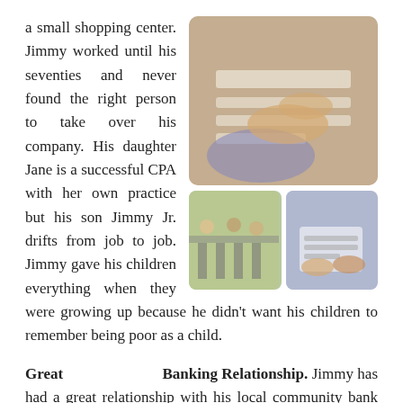a small shopping center. Jimmy worked until his seventies and never found the right person to take over his company. His daughter Jane is a successful CPA with her own practice but his son Jimmy Jr. drifts from job to job. Jimmy gave his children everything when they were growing up because he didn't want his children to remember being poor as a child.
[Figure (photo): Three photos showing banking activities: a top photo of hands signing/reviewing documents, a bottom-left photo of people at bank teller windows, a bottom-right photo of people reviewing documents at a desk.]
Great Banking Relationship.
Jimmy has had a great relationship with his local community bank where he had his business accounts over the years. He had a line of credit and commercial loans on his apartment building and shopping center all with the same bank. He thought he saved on legal fees when he obtained